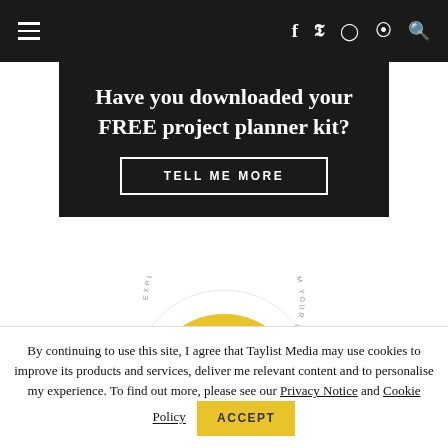Navigation bar with hamburger menu, social icons (f, twitter, instagram, pinterest) and search
[Figure (infographic): Black promotional banner: 'Have you downloaded your FREE project planner kit?' with 'TELL ME MORE' button]
[Figure (logo): Close to home circular logo in yellow with text 'Expertise & Personal Service From Your Local Design Specialist']
By continuing to use this site, I agree that Taylist Media may use cookies to improve its products and services, deliver me relevant content and to personalise my experience. To find out more, please see our Privacy Notice and Cookie Policy
ACCEPT